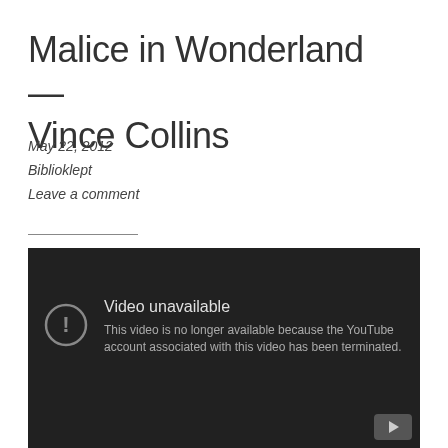Malice in Wonderland — Vince Collins
May 22, 2012
Biblioklept
Leave a comment
[Figure (screenshot): Embedded YouTube video player showing 'Video unavailable' error. Dark background with an exclamation icon and text: 'Video unavailable. This video is no longer available because the YouTube account associated with this video has been terminated.' A play button is visible in the bottom right corner.]